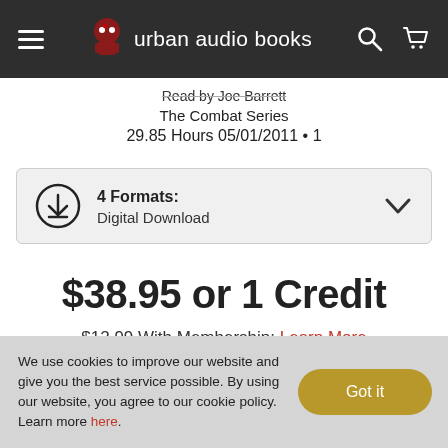urban audio books
Read by Joe Barrett
The Combat Series
29.85 Hours 05/01/2011 • 1
4 Formats: Digital Download
$38.95 or 1 Credit
$12.99 With Membership: Learn More
We use cookies to improve our website and give you the best service possible. By using our website, you agree to our cookie policy. Learn more here.